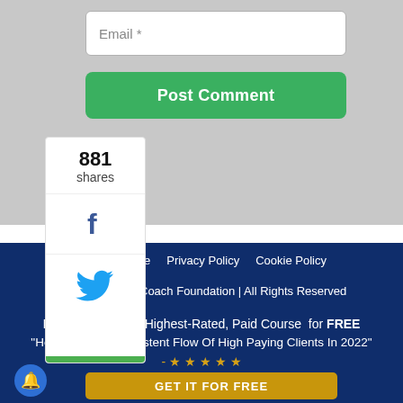[Figure (screenshot): Email input field with placeholder text 'Email *' on gray background]
[Figure (screenshot): Green 'Post Comment' button]
[Figure (infographic): Social share widget showing 881 shares with Facebook and Twitter icons and a green bottom bar]
Privacy Policy    Cookie Policy
Coach Foundation | All Rights Reserved
I'm giving you our Highest-Rated, Paid Course for FREE
"How To Get A Consistent Flow Of High Paying Clients In 2022"
- ★ ★ ★ ★ ★
[Figure (screenshot): Gold 'GET IT FOR FREE' button and blue notification bell icon]